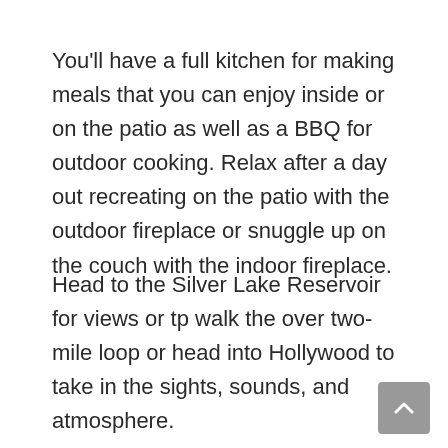You'll have a full kitchen for making meals that you can enjoy inside or on the patio as well as a BBQ for outdoor cooking. Relax after a day out recreating on the patio with the outdoor fireplace or snuggle up on the couch with the indoor fireplace.
Head to the Silver Lake Reservoir for views or tp walk the over two-mile loop or head into Hollywood to take in the sights, sounds, and atmosphere.